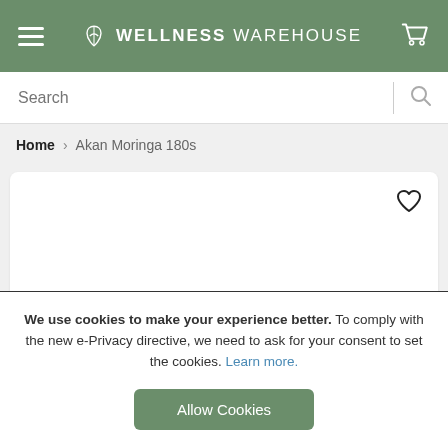WELLNESS WAREHOUSE
Search
Home > Akan Moringa 180s
[Figure (illustration): White product card area with a heart/wishlist icon in the top right corner]
We use cookies to make your experience better. To comply with the new e-Privacy directive, we need to ask for your consent to set the cookies. Learn more.
Allow Cookies